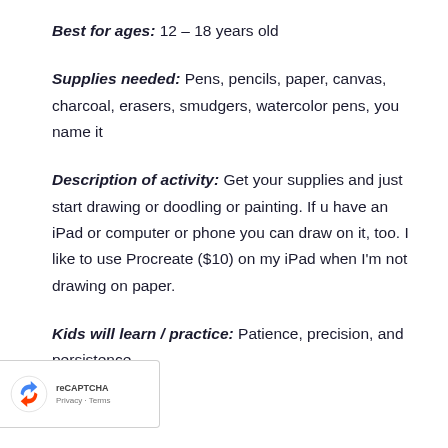Best for ages: 12 – 18 years old
Supplies needed: Pens, pencils, paper, canvas, charcoal, erasers, smudgers, watercolor pens, you name it
Description of activity: Get your supplies and just start drawing or doodling or painting. If u have an iPad or computer or phone you can draw on it, too. I like to use Procreate ($10) on my iPad when I'm not drawing on paper.
Kids will learn / practice: Patience, precision, and persistence.